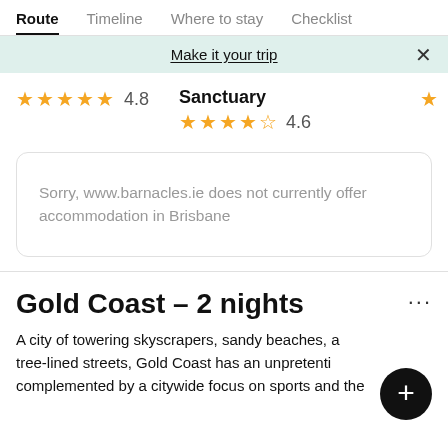Route | Timeline | Where to stay | Checklist
Make it your trip
★★★★★ 4.8   Sanctuary ★★★★½ 4.6
Sorry, www.barnacles.ie does not currently offer accommodation in Brisbane
Gold Coast – 2 nights
A city of towering skyscrapers, sandy beaches, a tree-lined streets, Gold Coast has an unpretentious complemented by a citywide focus on sports and the